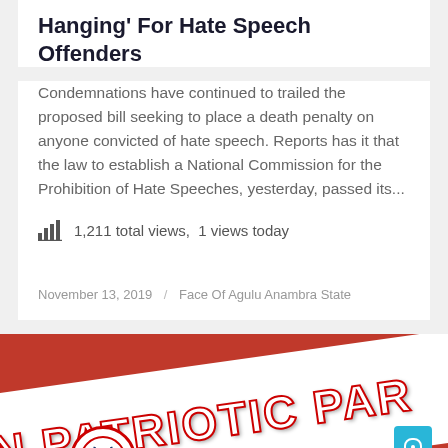Hanging' For Hate Speech Offenders
Condemnations have continued to trailed the proposed bill seeking to place a death penalty on anyone convicted of hate speech. Reports has it that the law to establish a National Commission for the Prohibition of Hate Speeches, yesterday, passed its...
1,211 total views,  1 views today
November 13, 2019  /  Face Of Agulu Anambra State
[Figure (photo): Photo of a red and white flag or banner with the text 'NEW PATRIOTIC PARTY' visible, partially cropped. A circular logo with an elephant symbol is visible on the banner.]